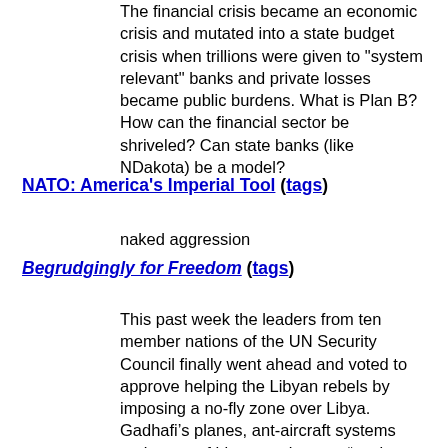The financial crisis became an economic crisis and mutated into a state budget crisis when trillions were given to "system relevant" banks and private losses became public burdens. What is Plan B?How can the financial sector be shriveled? Can state banks (like NDakota) be a model?
NATO: America's Imperial Tool (tags)
naked aggression
Begrudgingly for Freedom (tags)
This past week the leaders from ten member nations of the UN Security Council finally went ahead and voted to approve helping the Libyan rebels by imposing a no-fly zone over Libya. Gadhafi’s planes, ant-aircraft systems and some of his ground troops “posing a risk to civilians” are being targeted and that is a good thing as it is a measure of help and good faith with the size forces we currently have in the region we can easily provide. It is the least our nation can do (and in Libya the most we should do) as we made such a mess of Iraq, due to one administration basing everything on the say so of one person from Iraq and ignoring reams of evidence from multiple experts warning there was